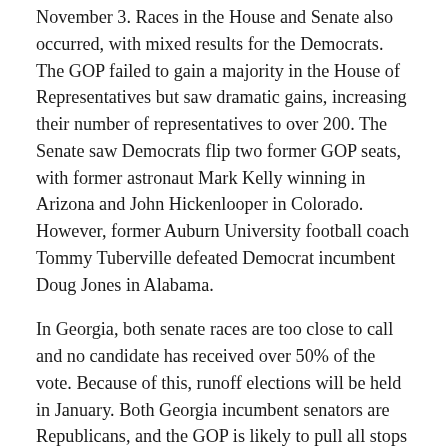November 3. Races in the House and Senate also occurred, with mixed results for the Democrats. The GOP failed to gain a majority in the House of Representatives but saw dramatic gains, increasing their number of representatives to over 200. The Senate saw Democrats flip two former GOP seats, with former astronaut Mark Kelly winning in Arizona and John Hickenlooper in Colorado. However, former Auburn University football coach Tommy Tuberville defeated Democrat incumbent Doug Jones in Alabama.
In Georgia, both senate races are too close to call and no candidate has received over 50% of the vote. Because of this, runoff elections will be held in January. Both Georgia incumbent senators are Republicans, and the GOP is likely to pull all stops to ensure they maintain a Senate majority as a check on the Biden-Harris White House. However, thanks to Stacey Abrams, Georgia has seen increased grassroots organization. This, along with overall increased turnout for Democrats, could swing both senate elections in